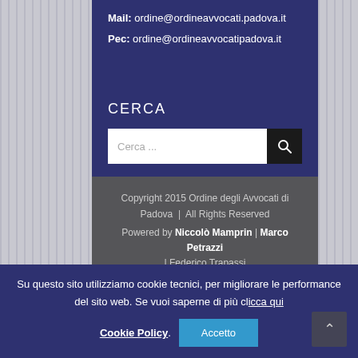Mail: ordine@ordineavvocati.padova.it
Pec: ordine@ordineavvocatipadova.it
CERCA
[Figure (screenshot): Search input bar with magnifier button]
Copyright 2015 Ordine degli Avvocati di Padova | All Rights Reserved
Powered by Niccolò Mamprin | Marco Petrazzi | Federico Trapassi
Su questo sito utilizziamo cookie tecnici, per migliorare le performance del sito web. Se vuoi saperne di più clicca qui
Cookie Policy. Accetto